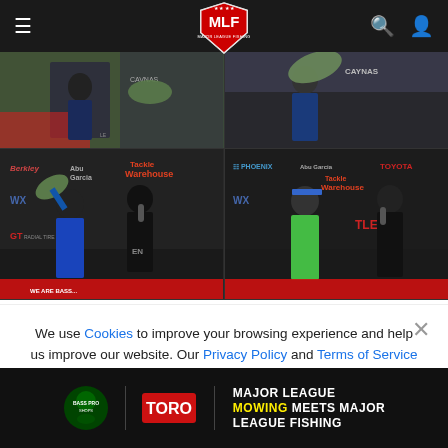[Figure (screenshot): MLF (Major League Fishing) website header with hamburger menu, MLF shield logo, search icon, and user account icon on dark background]
[Figure (photo): Four-panel photo grid showing fishing tournament scenes: anglers holding fish at weigh-in stages, interviewers with microphones, and red banner background]
We use Cookies to improve your browsing experience and help us improve our website. Our Privacy Policy and Terms of Service have changed. Click OK to agree.
[Figure (other): OK button - red rounded pill button]
[Figure (other): Bottom advertisement banner: Bass Pro Shops and TORO logos with text MAJOR LEAGUE MOWING MEETS MAJOR LEAGUE FISHING]